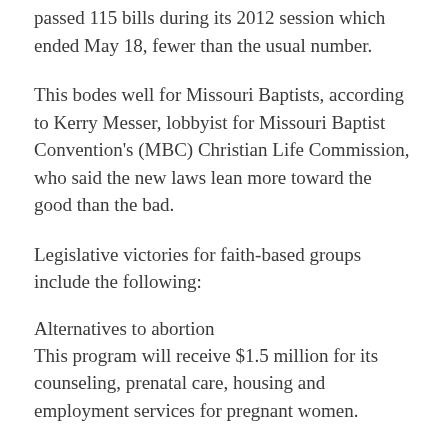passed 115 bills during its 2012 session which ended May 18, fewer than the usual number.
This bodes well for Missouri Baptists, according to Kerry Messer, lobbyist for Missouri Baptist Convention's (MBC) Christian Life Commission, who said the new laws lean more toward the good than the bad.
Legislative victories for faith-based groups include the following:
Alternatives to abortion
This program will receive $1.5 million for its counseling, prenatal care, housing and employment services for pregnant women.
Some $50,000 of the funding is designated for publicizing the services available through pregnancy resource